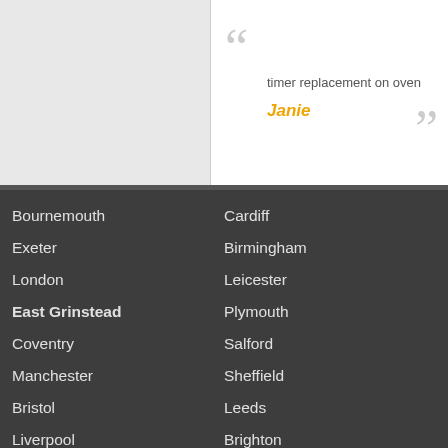timer replacement on oven
Janie
Bournemouth
Cardiff
Exeter
Birmingham
London
Leicester
East Grinstead
Plymouth
Coventry
Salford
Manchester
Sheffield
Bristol
Leeds
Liverpool
Brighton
Portsmouth
Norfolk
Derby
Narberth
Nottingham
Garstang
Ipswich
Walton
Wandsworth
Clumber
Enfield
Lutterworth